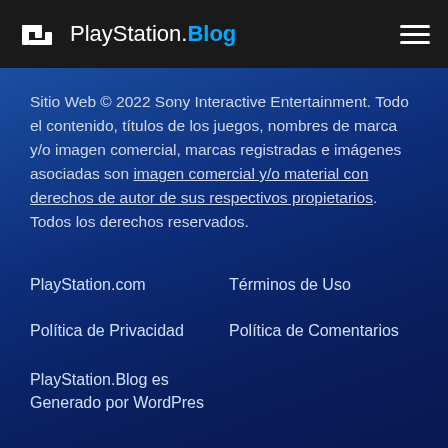PlayStation.Blog
Sitio Web © 2022 Sony Interactive Entertainment. Todo el contenido, títulos de los juegos, nombres de marca y/o imagen comercial, marcas registradas e imágenes asociadas son imagen comercial y/o material con derechos de autor de sus respectivos propietarios. Todos los derechos reservados.
PlayStation.com
Términos de Uso
Política de Privacidad
Política de Comentarios
PlayStation.Blog es Generado por WordPres